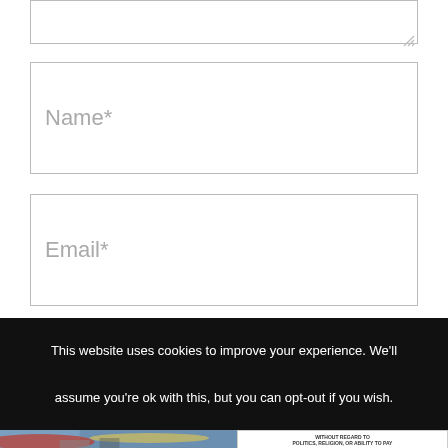[Figure (screenshot): Partial view of a web form textarea input box at the top of the page, showing a resize handle in the bottom-right corner]
Name*
Email*
Website
This website uses cookies to improve your experience. We'll assume you're ok with this, but you can opt-out if you wish.
[Figure (photo): Advertisement banner showing an airplane being loaded with cargo, with a red, yellow and blue Southwest Airlines livery, and a sidebar with text reading WITHOUT REGARD TO POLITICS, RELIGION, OR ABILITY TO PAY]